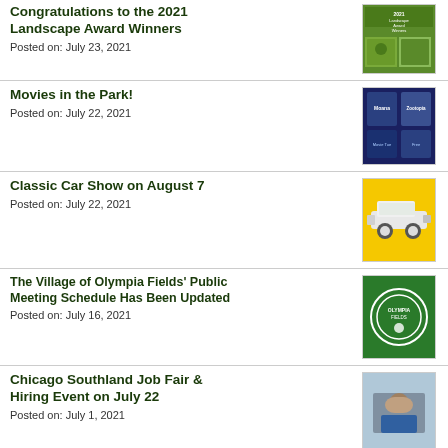Congratulations to the 2021 Landscape Award Winners
Posted on: July 23, 2021
[Figure (photo): 2021 Landscape Award Winners promotional image with green background]
Movies in the Park!
Posted on: July 22, 2021
[Figure (photo): Movies in the Park poster featuring Moana and Zootopia]
Classic Car Show on August 7
Posted on: July 22, 2021
[Figure (photo): Classic white car on yellow background]
The Village of Olympia Fields' Public Meeting Schedule Has Been Updated
Posted on: July 16, 2021
[Figure (logo): Village of Olympia Fields green seal/logo]
Chicago Southland Job Fair & Hiring Event on July 22
Posted on: July 1, 2021
[Figure (photo): Worker at job fair event]
Community Compost Collection
[Figure (logo): Community Compost Collection circular logo]